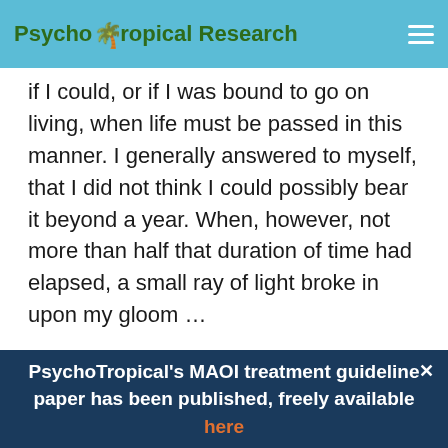PsychoTropical Research
if I could, or if I was bound to go on living, when life must be passed in this manner. I generally answered to myself, that I did not think I could possibly bear it beyond a year. When, however, not more than half that duration of time had elapsed, a small ray of light broke in upon my gloom …
From this moment my burden grew lighter. The oppression of the thought that all
PsychoTropical's MAOI treatment guideline paper has been published, freely available here